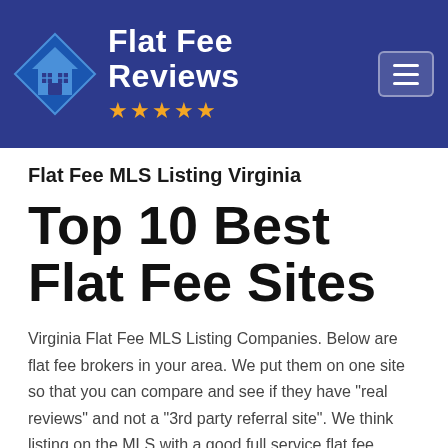[Figure (logo): Flat Fee Reviews website header with blue background, house logo icon, brand name 'Flat Fee Reviews', five gold stars, and hamburger menu button]
Flat Fee MLS Listing Virginia
Top 10 Best Flat Fee Sites
Virginia Flat Fee MLS Listing Companies. Below are flat fee brokers in your area. We put them on one site so that you can compare and see if they have "real reviews" and not a "3rd party referral site". We think listing on the MLS with a good full service flat fee broker is the best way to sell.